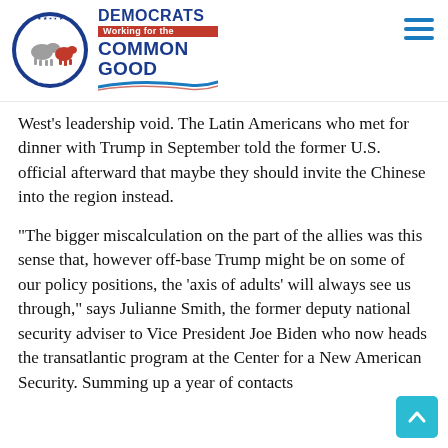Cheshire County Democrats — Working for the Common Good
West's leadership void. The Latin Americans who met for dinner with Trump in September told the former U.S. official afterward that maybe they should invite the Chinese into the region instead.
“The bigger miscalculation on the part of the allies was this sense that, however off-base Trump might be on some of our policy positions, the ‘axis of adults’ will always see us through,” says Julianne Smith, the former deputy national security adviser to Vice President Joe Biden who now heads the transatlantic program at the Center for a New American Security. Summing up a year of contacts